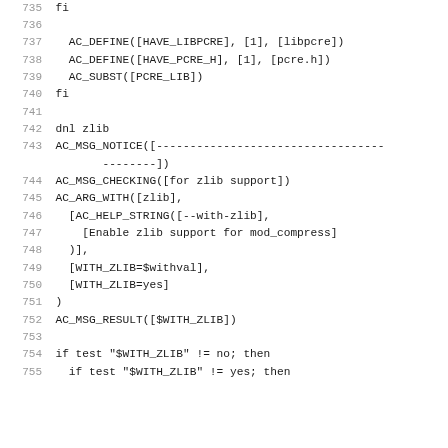Source code listing lines 735-755 of a configure.ac / autoconf script showing PCRE and zlib detection macros.